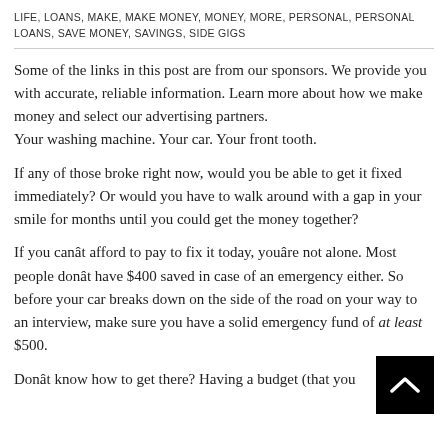LIFE, LOANS, MAKE, MAKE MONEY, MONEY, MORE, PERSONAL, PERSONAL LOANS, SAVE MONEY, SAVINGS, SIDE GIGS
Some of the links in this post are from our sponsors. We provide you with accurate, reliable information. Learn more about how we make money and select our advertising partners. Your washing machine. Your car. Your front tooth.
If any of those broke right now, would you be able to get it fixed immediately? Or would you have to walk around with a gap in your smile for months until you could get the money together?
If you can’t afford to pay to fix it today, you’re not alone. Most people don’t have $400 saved in case of an emergency either. So before your car breaks down on the side of the road on your way to an interview, make sure you have a solid emergency fund of at least $500.
Don’t know how to get there? Having a budget (that you